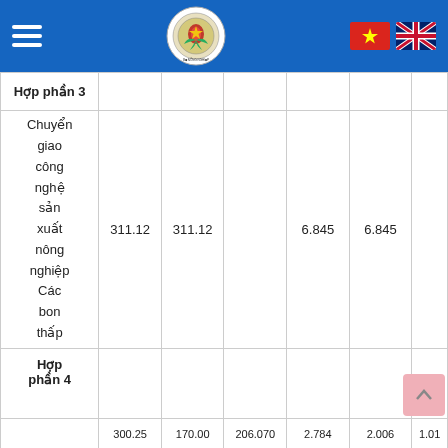Header bar with hamburger menu, logo, Vietnamese and UK flags
|  |  |  |  |  |  |
| --- | --- | --- | --- | --- | --- |
| Hợp phần 3 |  |  |  |  |  |
| Chuyển giao công nghệ sản xuất nông nghiệp Các bon thấp | 311.12 | 311.12 |  | 6.845 | 6.845 |
| Hợp phần 4 |  |  |  |  |  |
|  | 300.25 | 170.00 | 206.070 | 2.784 | 2.006 | 1.01 |